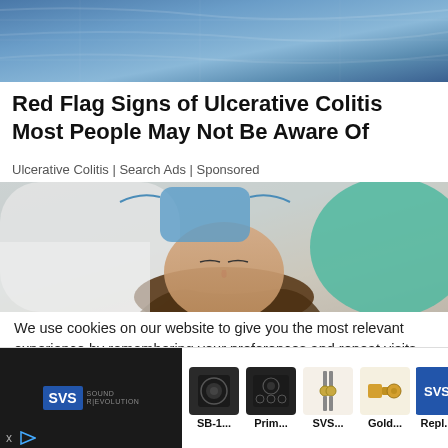[Figure (photo): Top cropped image showing blue fabric/textile texture]
Red Flag Signs of Ulcerative Colitis Most People May Not Be Aware Of
Ulcerative Colitis | Search Ads | Sponsored
[Figure (photo): Medical scene with patient lying down and doctor/dentist figure in white coat and teal mask]
We use cookies on our website to give you the most relevant experience by remembering your preferences and repeat visits. By clicking "Accept All", you consent to the use of ALL the cookies. However, you may visit "Cookie Settings" to provide a controlled
[Figure (screenshot): SVS Sound Revolution advertisement bar with product images: SB-1..., Prim..., SVS..., Gold..., Repl...]